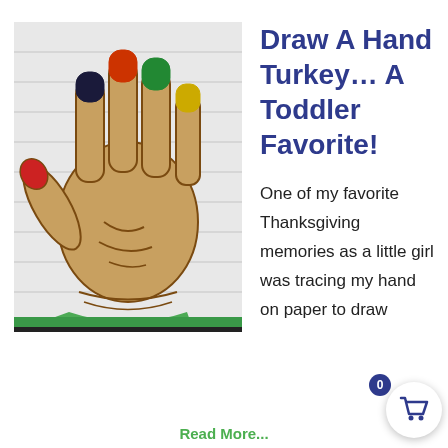[Figure (photo): A child's hand with fingers painted in multiple colors (dark blue, red/orange, green, and yellow) with the palm and hand outline drawn in brown marker to resemble a hand turkey. The hand is raised against a white background, and the child is wearing a green sleeve.]
Draw A Hand Turkey… A Toddler Favorite!
One of my favorite Thanksgiving memories as a little girl was tracing my hand on paper to draw